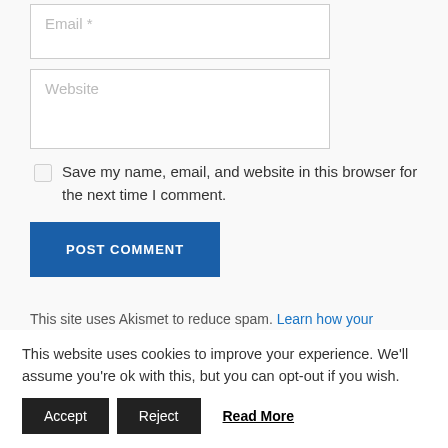Email *
Website
Save my name, email, and website in this browser for the next time I comment.
POST COMMENT
This site uses Akismet to reduce spam. Learn how your comment data is processed.
This website uses cookies to improve your experience. We'll assume you're ok with this, but you can opt-out if you wish.
Accept
Reject
Read More